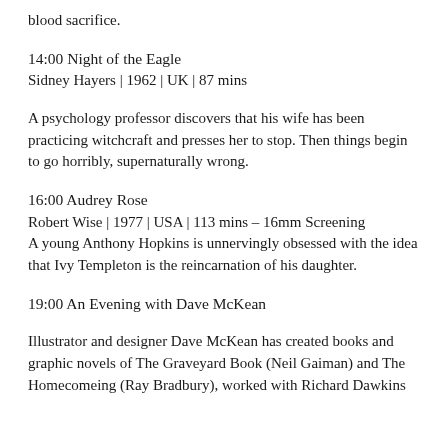blood sacrifice.
14:00 Night of the Eagle
Sidney Hayers | 1962 | UK | 87 mins
A psychology professor discovers that his wife has been practicing witchcraft and presses her to stop. Then things begin to go horribly, supernaturally wrong.
16:00 Audrey Rose
Robert Wise | 1977 | USA | 113 mins – 16mm Screening
A young Anthony Hopkins is unnervingly obsessed with the idea that Ivy Templeton is the reincarnation of his daughter.
19:00 An Evening with Dave McKean
Illustrator and designer Dave McKean has created books and graphic novels of The Graveyard Book (Neil Gaiman) and The Homecomeing (Ray Bradbury), worked with Richard Dawkins